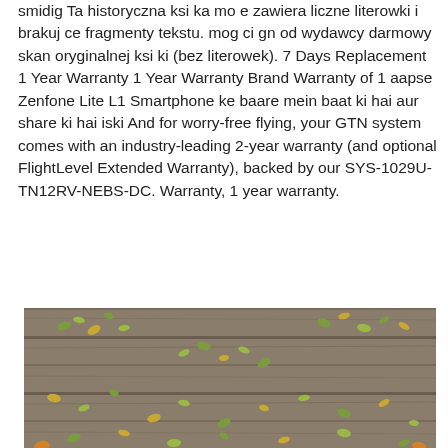smidig  Ta historyczna ksi ka mo e zawiera liczne literowki i brakuj ce fragmenty tekstu. mog ci gn od wydawcy darmowy skan oryginalnej ksi ki (bez literowek). 7 Days Replacement 1 Year Warranty 1 Year Warranty Brand Warranty of 1 aapse Zenfone Lite L1 Smartphone ke baare mein baat ki hai aur share ki hai iski  And for worry-free flying, your GTN system comes with an industry-leading 2-year warranty (and optional FlightLevel Extended Warranty), backed by our  SYS-1029U-TN12RV-NEBS-DC. Warranty, 1 year warranty.
[Figure (photo): A photograph of weathered grey wooden planks covered with scattered green and yellow small leaves.]